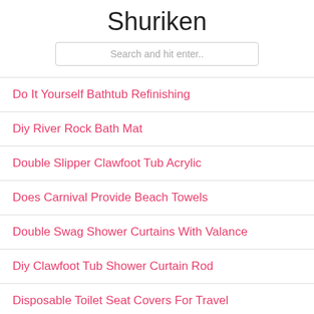Shuriken
Search and hit enter..
Do It Yourself Bathtub Refinishing
Diy River Rock Bath Mat
Double Slipper Clawfoot Tub Acrylic
Does Carnival Provide Beach Towels
Double Swag Shower Curtains With Valance
Diy Clawfoot Tub Shower Curtain Rod
Disposable Toilet Seat Covers For Travel
Dish Drying Rack With Cover
Does Cvs Sell Beach Towels
Double D Ring Belt Buckles